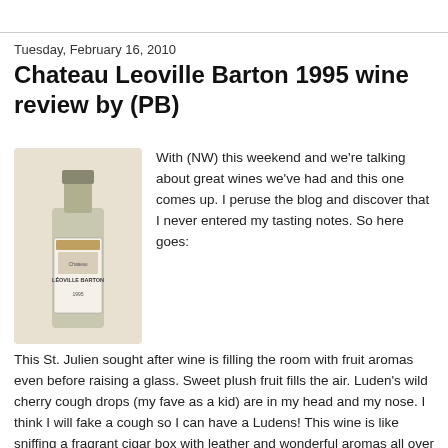Tuesday, February 16, 2010
Chateau Leoville Barton 1995 wine review by (PB)
[Figure (photo): Wine bottle photo of Chateau Leoville Barton]
With (NW) this weekend and we're talking about great wines we've had and this one comes up. I peruse the blog and discover that I never entered my tasting notes. So here goes:
This St. Julien sought after wine is filling the room with fruit aromas even before raising a glass. Sweet plush fruit fills the air. Luden's wild cherry cough drops (my fave as a kid) are in my head and my nose. I think I will fake a cough so I can have a Ludens! This wine is like sniffing a fragrant cigar box with leather and wonderful aromas all over the place.
Palate--Holy cow; this wine is SO young at 14 years old,